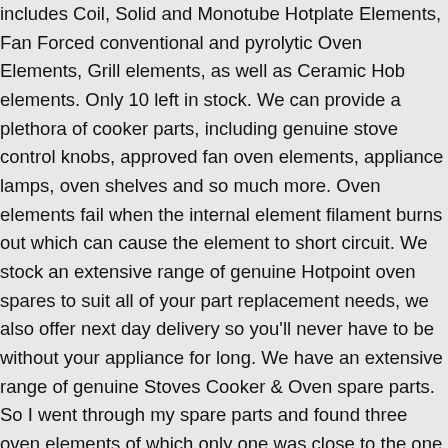includes Coil, Solid and Monotube Hotplate Elements, Fan Forced conventional and pyrolytic Oven Elements, Grill elements, as well as Ceramic Hob elements. Only 10 left in stock. We can provide a plethora of cooker parts, including genuine stove control knobs, approved fan oven elements, appliance lamps, oven shelves and so much more. Oven elements fail when the internal element filament burns out which can cause the element to short circuit. We stock an extensive range of genuine Hotpoint oven spares to suit all of your part replacement needs, we also offer next day delivery so you'll never have to be without your appliance for long. We have an extensive range of genuine Stoves Cooker & Oven spare parts. So I went through my spare parts and found three oven elements of which only one was close to the one I needed to replace. Pack: KELVINATOR OVEN GRILL ELEMENT**DISCONTINUED. 59. Home > Spares > STOVES, OVENS, HOBS and CATERING > ELEMENTS – OVEN ELEMENTS > KELVINATOR OVEN GRILL ELEMENT**DISCONTINUED. Next Day UK Delivery available. Many of our Stoves spare parts are in stock for immediate despatch and the same...